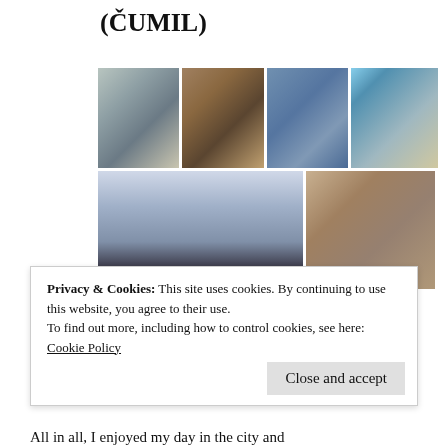(ČUMIL)
[Figure (photo): Grid of 6 photographs showing Bratislava landmarks and statues including a street statue, Napoleon soldier figurine, blue church facade, Bratislava Castle, silhouetted figures against cloudy sky, and Čumil the Man at Work bronze statue in a manhole]
Privacy & Cookies: This site uses cookies. By continuing to use this website, you agree to their use.
To find out more, including how to control cookies, see here:
Cookie Policy
Close and accept
All in all, I enjoyed my day in the city and